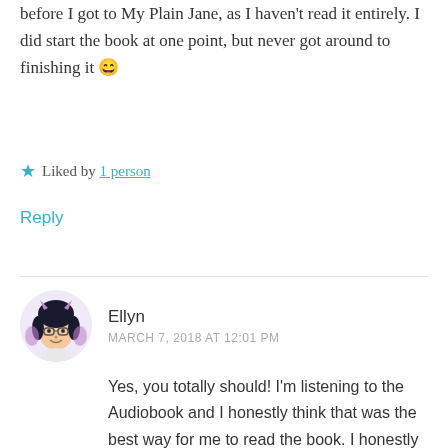before I got to My Plain Jane, as I haven't read it entirely. I did start the book at one point, but never got around to finishing it 😄
★ Liked by 1 person
Reply
[Figure (illustration): Circular avatar illustration of a cartoon woman with dark curly hair, glasses, and small devil horns with wings, drawn in a sketch style with purple/pink accents]
Ellyn
MARCH 7, 2018 AT 12:01 PM
Yes, you totally should! I'm listening to the Audiobook and I honestly think that was the best way for me to read the book. I honestly don't know if I would have made it through this much drama and angst without the audio tbh.